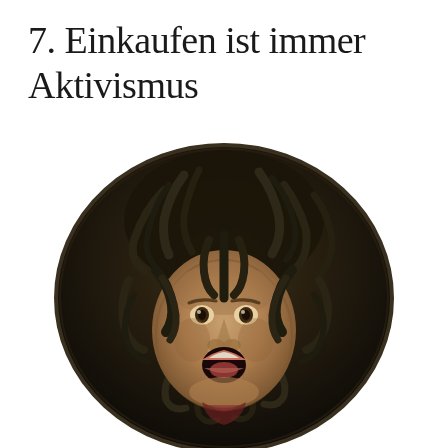7. Einkaufen ist immer Aktivismus
[Figure (illustration): Caravaggio's Medusa painting on a circular shield — a baroque oil painting depicting the severed head of Medusa with an open mouth screaming, surrounded by writhing snakes as hair, set against a dark circular tondo background.]